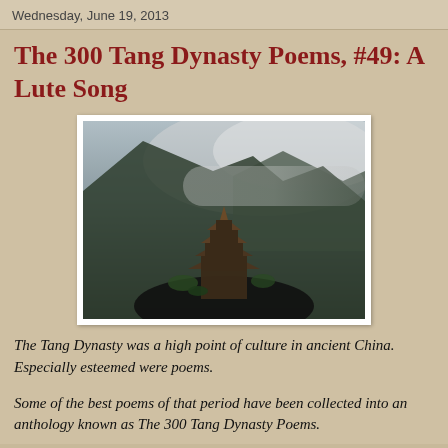Wednesday, June 19, 2013
The 300 Tang Dynasty Poems, #49: A Lute Song
[Figure (photo): A traditional multi-tiered East Asian pagoda perched on a rocky mountain cliff, with dramatic misty mountain peaks in the background.]
The Tang Dynasty was a high point of culture in ancient China. Especially esteemed were poems.
Some of the best poems of that period have been collected into an anthology known as The 300 Tang Dynasty Poems.